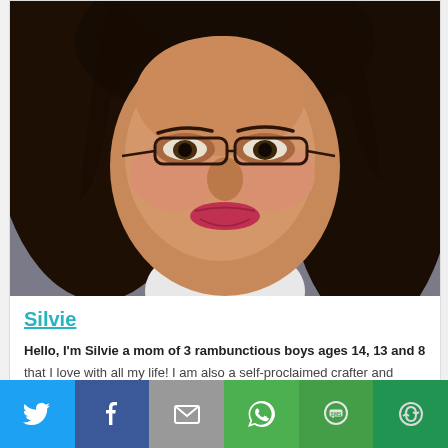[Figure (photo): Close-up photo of a woman named Silvie with dark hair, glasses, and red lipstick, smiling at the camera against a grey background.]
Silvie
Hello, I'm Silvie a mom of 3 rambunctious boys ages 14, 13 and 8 that I love with all my life! I am also a self-proclaimed crafter and
[Figure (infographic): Social media share bar with buttons: Twitter (blue bird icon), Facebook (blue f icon), Email (grey envelope icon), WhatsApp (green phone icon), SMS (green SMS icon), More (green circular arrow icon).]